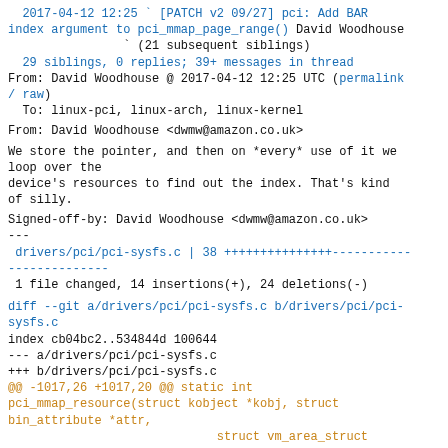2017-04-12 12:25 ` [PATCH v2 09/27] pci: Add BAR index argument to pci_mmap_page_range() David Woodhouse
                ` (21 subsequent siblings)
  29 siblings, 0 replies; 39+ messages in thread
From: David Woodhouse @ 2017-04-12 12:25 UTC (permalink / raw)
  To: linux-pci, linux-arch, linux-kernel
From: David Woodhouse <dwmw@amazon.co.uk>
We store the pointer, and then on *every* use of it we loop over the
device's resources to find out the index. That's kind of silly.
Signed-off-by: David Woodhouse <dwmw@amazon.co.uk>
---
 drivers/pci/pci-sysfs.c | 38 +++++++++++++++--------------
--------------
 1 file changed, 14 insertions(+), 24 deletions(-)
diff --git a/drivers/pci/pci-sysfs.c b/drivers/pci/pci-sysfs.c
index cb04bc2..534844d 100644
--- a/drivers/pci/pci-sysfs.c
+++ b/drivers/pci/pci-sysfs.c
@@ -1017,26 +1017,20 @@ static int pci_mmap_resource(struct kobject *kobj, struct bin_attribute *attr,
                              struct vm_area_struct